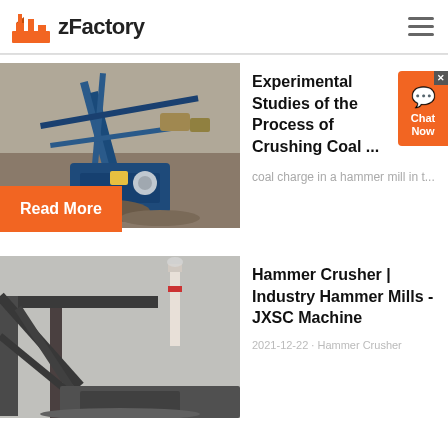zFactory
[Figure (photo): Aerial view of a large industrial mining/crushing machine with blue metal frames and conveyor belts at an open-pit mine site.]
Experimental Studies of the Process of Crushing Coal ...
coal charge in a hammer mill in t...
Read More
[Figure (photo): Industrial hammer crusher / mill machinery at a mining or construction site with a smokestack visible in the background.]
Hammer Crusher | Industry Hammer Mills - JXSC Machine
2021-12-22 · Hammer Crusher